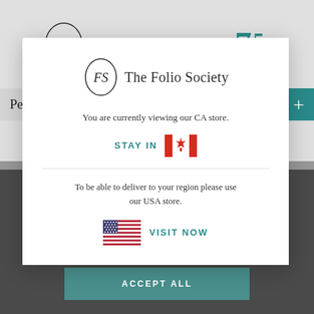[Figure (logo): The Folio Society logo with oval FS monogram and 75 Folio anniversary mark in teal]
Persuasion
CA$79.95
[Figure (screenshot): Modal dialog from The Folio Society website showing store selector]
You are currently viewing our CA store.
STAY IN
To be able to deliver to your region please use our USA store.
VISIT NOW
ACCEPT ALL